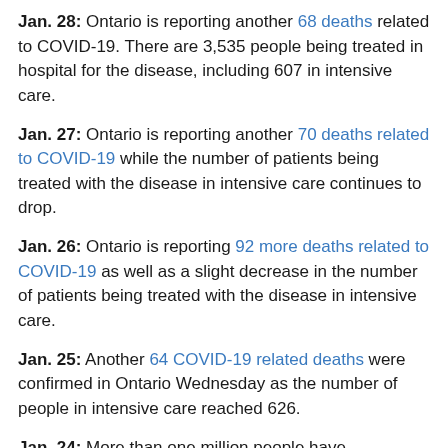Jan. 28: Ontario is reporting another 68 deaths related to COVID-19. There are 3,535 people being treated in hospital for the disease, including 607 in intensive care.
Jan. 27: Ontario is reporting another 70 deaths related to COVID-19 while the number of patients being treated with the disease in intensive care continues to drop.
Jan. 26: Ontario is reporting 92 more deaths related to COVID-19 as well as a slight decrease in the number of patients being treated with the disease in intensive care.
Jan. 25: Another 64 COVID-19 related deaths were confirmed in Ontario Wednesday as the number of people in intensive care reached 626.
Jan. 24: More than one million people have contracted COVID-19 in Ontario and the province's death toll has now surpassed 11,000. On Monday, the province confirmed 4,790 cases and 37 more deaths related to the disease.